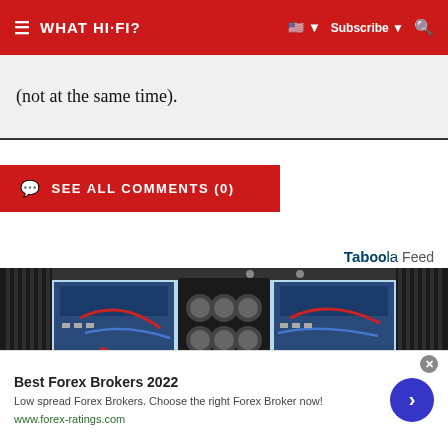WHAT HI-FI? | Subscribe | [flag] | [search]
(not at the same time).
SEE ALL COMMENTS (0)
Taboola Feed
[Figure (photo): Interior of a high-end audio amplifier showing capacitors, circuit boards, wiring (red, yellow, blue wires), and heat sinks on both sides, viewed from top-down against a light blue background.]
Best Forex Brokers 2022
Low spread Forex Brokers. Choose the right Forex Broker now!
www.forex-ratings.com